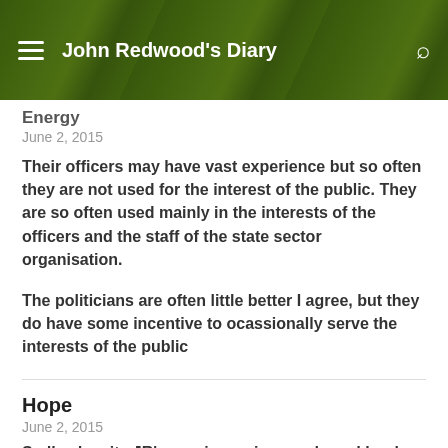John Redwood's Diary
Energy
June 2, 2015
Their officers may have vast experience but so often they are not used for the interest of the public. They are so often used mainly in the interests of the officers and the staff of the state sector organisation.
The politicians are often little better I agree, but they do have some incentive to ocassionally serve the interests of the public
Hope
June 2, 2015
Sadly, despite JR's previous wise words and books he and his